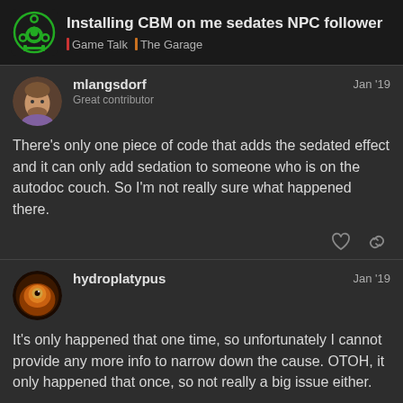Installing CBM on me sedates NPC follower — Game Talk | The Garage
mlangsdorf
Great contributor
Jan '19
There's only one piece of code that adds the sedated effect and it can only add sedation to someone who is on the autodoc couch. So I'm not really sure what happened there.
hydroplatypus
Jan '19
It's only happened that one time, so unfortunately I cannot provide any more info to narrow down the cause. OTOH, it only happened that once, so not really a big issue either.
2 / 12